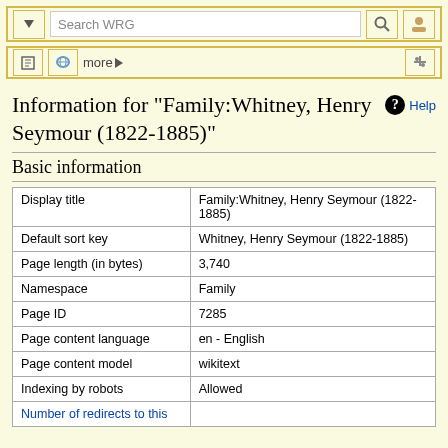Search WRG toolbar
Information for "Family:Whitney, Henry Seymour (1822-1885)"
Basic information
|  |  |
| --- | --- |
| Display title | Family:Whitney, Henry Seymour (1822-1885) |
| Default sort key | Whitney, Henry Seymour (1822-1885) |
| Page length (in bytes) | 3,740 |
| Namespace | Family |
| Page ID | 7285 |
| Page content language | en - English |
| Page content model | wikitext |
| Indexing by robots | Allowed |
| Number of redirects to this |  |